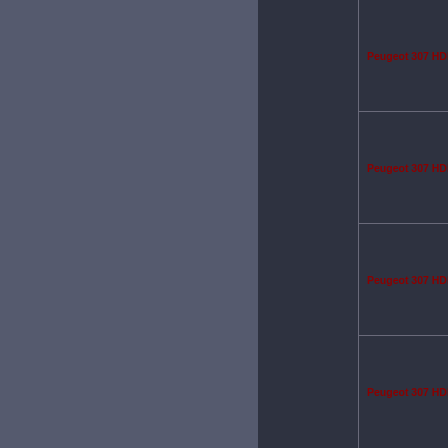Peugeot 307 HDI 1.
Peugeot 307 HDI 2.
Peugeot 307 HDI 2.
Peugeot 307 HDI 2.